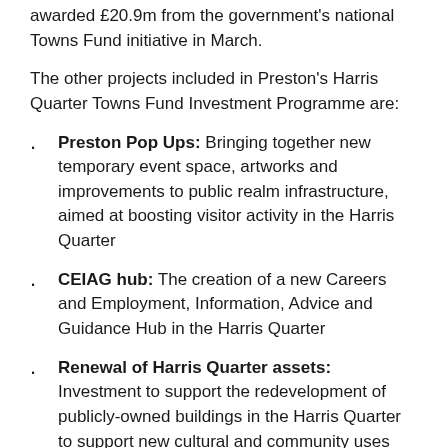awarded £20.9m from the government's national Towns Fund initiative in March.
The other projects included in Preston's Harris Quarter Towns Fund Investment Programme are:
Preston Pop Ups: Bringing together new temporary event space, artworks and improvements to public realm infrastructure, aimed at boosting visitor activity in the Harris Quarter
CEIAG hub: The creation of a new Careers and Employment, Information, Advice and Guidance Hub in the Harris Quarter
Renewal of Harris Quarter assets: Investment to support the redevelopment of publicly-owned buildings in the Harris Quarter to support new cultural and community uses
Illuminate and Integrate: A project to deliver